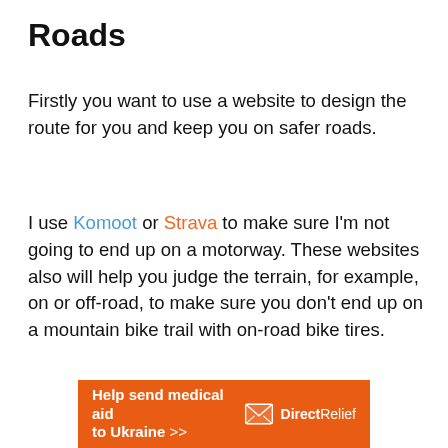Roads
Firstly you want to use a website to design the route for you and keep you on safer roads.
I use Komoot or Strava to make sure I'm not going to end up on a motorway. These websites also will help you judge the terrain, for example, on or off-road, to make sure you don't end up on a mountain bike trail with on-road bike tires.
[Figure (infographic): Orange advertisement banner for Direct Relief reading 'Help send medical aid to Ukraine >>' with the Direct Relief logo on the right]